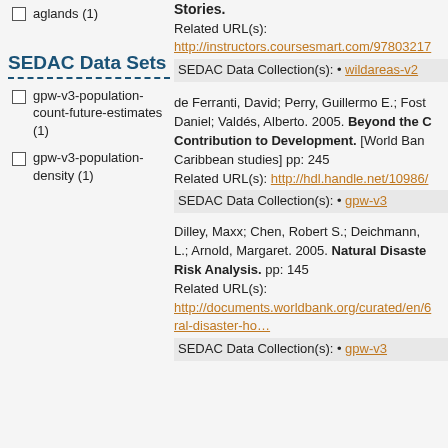aglands (1)
SEDAC Data Sets
gpw-v3-population-count-future-estimates (1)
gpw-v3-population-density (1)
Stories.
Related URL(s):
http://instructors.coursesmart.com/9780321...
SEDAC Data Collection(s): • wildareas-v2
de Ferranti, David; Perry, Guillermo E.; Fost... Daniel; Valdés, Alberto. 2005. Beyond the C... Contribution to Development. [World Ban... Caribbean studies] pp: 245
Related URL(s): http://hdl.handle.net/10986/...
SEDAC Data Collection(s): • gpw-v3
Dilley, Maxx; Chen, Robert S.; Deichmann,... L.; Arnold, Margaret. 2005. Natural Disaste... Risk Analysis. pp: 145
Related URL(s):
http://documents.worldbank.org/curated/en/6...ral-disaster-ho…
SEDAC Data Collection(s): • gpw-v3